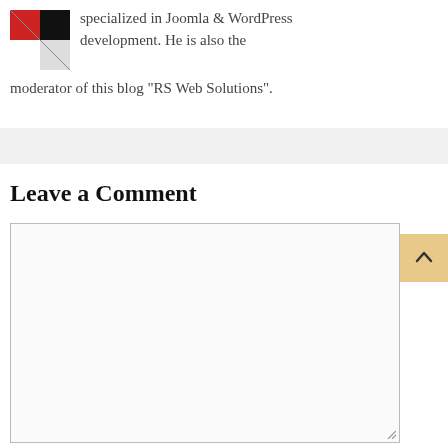specialized in Joomla & WordPress development. He is also the moderator of this blog "RS Web Solutions".
Leave a Comment
[Figure (other): Comment text area input box with resize handle at bottom right]